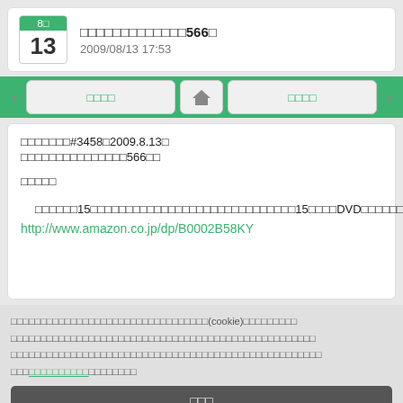□□□□□□□□□□□□□566□
2009/08/13 17:53
□□□□□□□□□□□□□□□□□□□□□□□□□□□□□□□□□□□□□□□□□□□□□□□□□□□□□□□□□□□□□□□□□□□□□□□□□□□□□□□□□□□□□□□□□□□□□□□□□□□□□□□□□□□□□□□□□□□□□□□□□□□□□□□□□□□□□□□□□□□□□□□□□□□□□□□□□□□□□□□□□□
□□□□□
http://www.amazon.co.jp/dp/B0002B58KY
□□□□□□□□□□□□□□□□□□□□□□□□□□□□□□□□□(cookie)□□□□□□□□□□□□□□□□□□□□□□□□□□□□□□□□□□□□□□□□□□□□□□□□□□□□□□□□□□□□□□□□□□□□□□□□□□□□□□□□□□□□□□□□□□□□□□□□□□□□□□□□□□□□□□□□□□□□□□□□□□□□□□□□□□□□□□□□□□□□□□□□□□□□□□□□□□□□□□□□□□□□□□□□□□□□□□□□□□□□□□□□□□□□□□□□□□□□□□□□□□□□□□□□□□□□
□□□